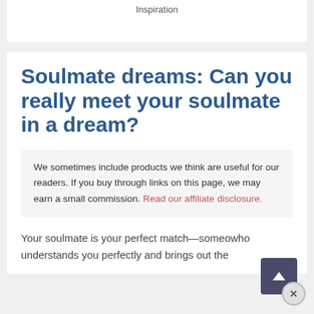Inspiration
Soulmate dreams: Can you really meet your soulmate in a dream?
We sometimes include products we think are useful for our readers. If you buy through links on this page, we may earn a small commission. Read our affiliate disclosure.
Your soulmate is your perfect match—someone who understands you perfectly and brings out the